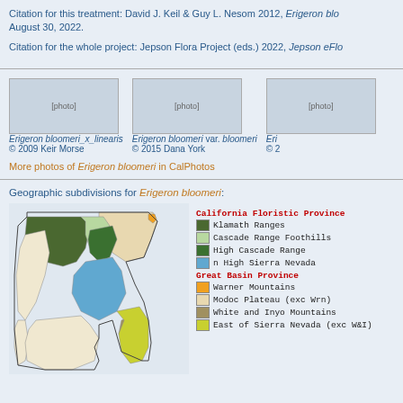Citation for this treatment: David J. Keil & Guy L. Nesom 2012, Erigeron blo... August 30, 2022.
Citation for the whole project: Jepson Flora Project (eds.) 2022, Jepson eFlo...
Erigeron bloomeri_x_linearis © 2009 Keir Morse | Erigeron bloomeri var. bloomeri © 2015 Dana York | Eri... © 2...
More photos of Erigeron bloomeri in CalPhotos
Geographic subdivisions for Erigeron bloomeri:
[Figure (map): Map of California showing geographic subdivisions for Erigeron bloomeri, with colored regions indicating Klamath Ranges (dark green), Cascade Range Foothills (light green), High Cascade Range (medium green), n High Sierra Nevada (blue), Warner Mountains (orange), Modoc Plateau exc Wrn (tan), White and Inyo Mountains (tan/brown), East of Sierra Nevada exc W&I (yellow-green). Legend shown to the right with California Floristic Province and Great Basin Province headers.]